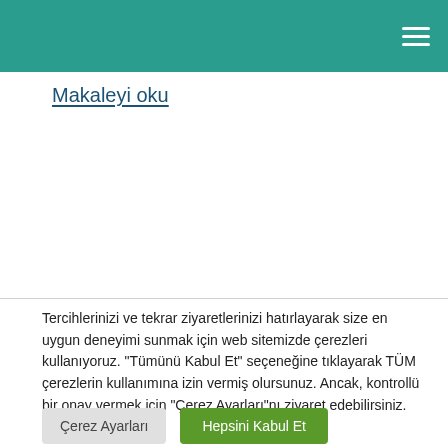Makaleyi oku
Tercihlerinizi ve tekrar ziyaretlerinizi hatırlayarak size en uygun deneyimi sunmak için web sitemizde çerezleri kullanıyoruz. "Tümünü Kabul Et" seçeneğine tıklayarak TÜM çerezlerin kullanımına izin vermiş olursunuz. Ancak, kontrollü bir onay vermek için "Çerez Ayarları"nı ziyaret edebilirsiniz.
Çerez Ayarları
Hepsini Kabul Et